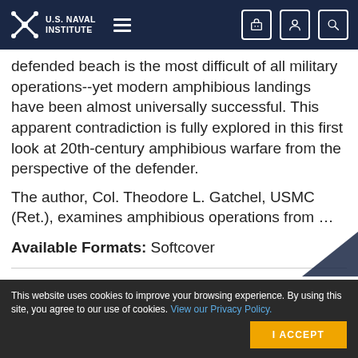U.S. Naval Institute
defended beach is the most difficult of all military operations--yet modern amphibious landings have been almost universally successful. This apparent contradiction is fully explored in this first look at 20th-century amphibious warfare from the perspective of the defender.
The author, Col. Theodore L. Gatchel, USMC (Ret.), examines amphibious operations from ...
Available Formats: Softcover
This website uses cookies to improve your browsing experience. By using this site, you agree to our use of cookies. View our Privacy Policy.
I ACCEPT